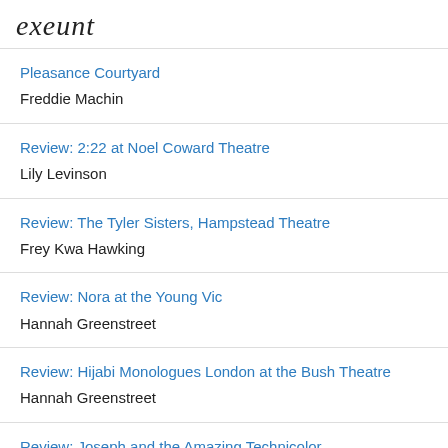exeunt
Pleasance Courtyard
Freddie Machin
Review: 2:22 at Noel Coward Theatre
Lily Levinson
Review: The Tyler Sisters, Hampstead Theatre
Frey Kwa Hawking
Review: Nora at the Young Vic
Hannah Greenstreet
Review: Hijabi Monologues London at the Bush Theatre
Hannah Greenstreet
Review: Joseph and the Amazing Technicolor